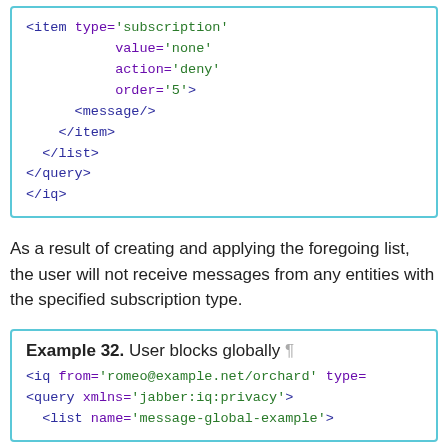[Figure (other): Code block showing XML snippet with item type subscription, value none, action deny, order 5, message element, closing item, list, query, and iq tags]
As a result of creating and applying the foregoing list, the user will not receive messages from any entities with the specified subscription type.
[Figure (other): Code box labeled Example 32. User blocks globally, showing XML: <iq from='romeo@example.net/orchard' type=, <query xmlns='jabber:iq:privacy'>, <list name='message-global-example'>]